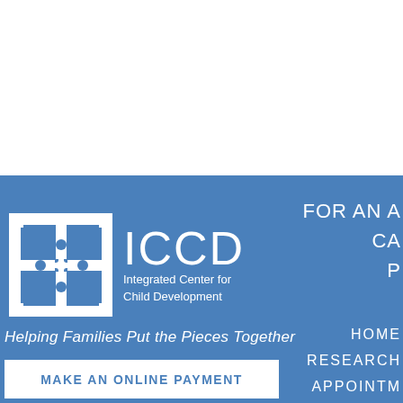[Figure (logo): ICCD Integrated Center for Child Development logo with puzzle piece graphic on white background, on blue banner]
Helping Families Put the Pieces Together
FOR AN A
CA
P
MAKE AN ONLINE PAYMENT
HOME
RESEARCH
APPOINTM